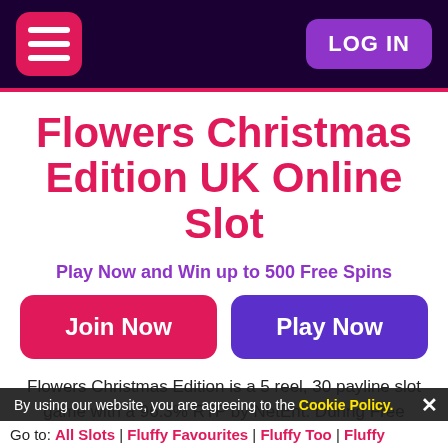☰ LOG IN
Flowers Christmas Edition UK Online Slot
Play Now and Win up to 500 Free Spins
Join Now | Play Now
Flowers Christmas Edition is a 5 reel, 30 payline slot game with a 96.3% RTP by NetEnt. During Free Spins, Stacked Wild symbols can appear on the reels for a chance at bigger wins!
By using our website, you are agreeing to the Cookie Policy. ✕
Go to: All Slots | Fluffy Favourites | Fluffy Too | Fluffy